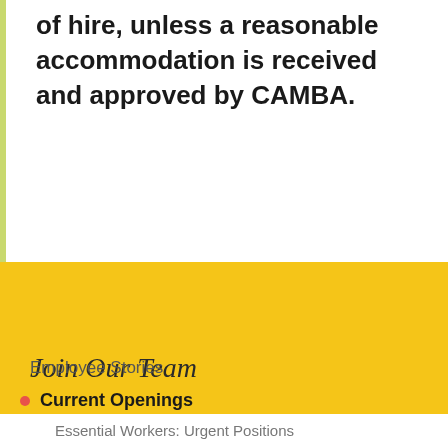of hire, unless a reasonable accommodation is received and approved by CAMBA.
Join Our Team
Employee Stories
Current Openings
Essential Workers: Urgent Positions